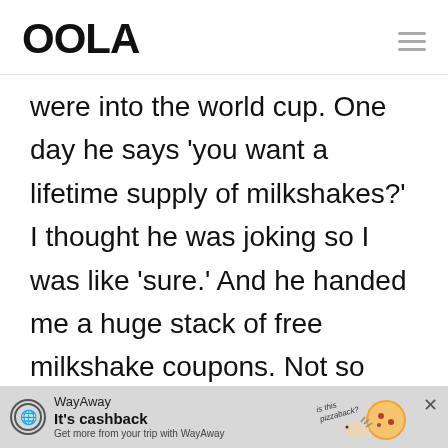OOLA
were into the world cup. One day he says 'you want a lifetime supply of milkshakes?' I thought he was joking so I was like 'sure.' And he handed me a huge stack of free milkshake coupons. Not so much a contest, but I guess I won the prize for...
[Figure (other): WayAway advertisement banner with cashback offer, pizza illustration and 'is this pizzaback?' text]